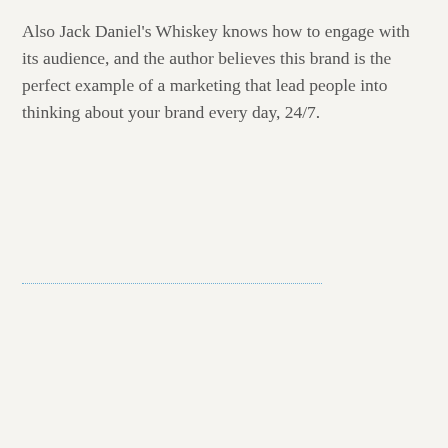Also Jack Daniel's Whiskey knows how to engage with its audience, and the author believes this brand is the perfect example of a marketing that lead people into thinking about your brand every day, 24/7.